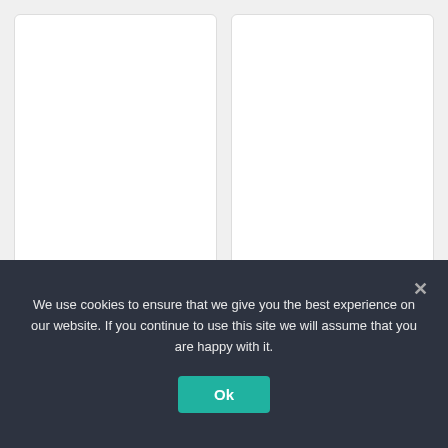HP ENVY 14 Laptop i5-11300H 16GB onboard 256GB-SSD
Request For Price
HP Elitebook 850 G8 I7-1165G7 8GB DDR4-3200
$2,221.00 'inc. GST'
We use cookies to ensure that we give you the best experience on our website. If you continue to use this site we will assume that you are happy with it.